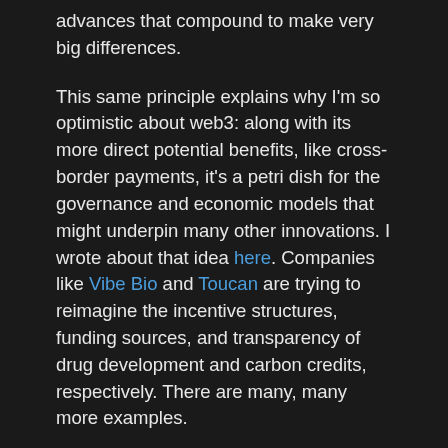advances that compound to make very big differences.
This same principle explains why I'm so optimistic about web3: along with its more direct potential benefits, like cross-border payments, it's a petri dish for the governance and economic models that might underpin many other innovations. I wrote about that idea here. Companies like Vibe Bio and Toucan are trying to reimagine the incentive structures, funding sources, and transparency of drug development and carbon credits, respectively. There are many, many more examples.
That doesn't mean that I think everything in web3 will pan out. Someone on Twitter estimated that 95% or more will fail, and I agree. I also agree that there are a lot of scams and bad actors in the market; those are even more harmful than their direct cost by giving pessimists and cynics legitimate fodder. But I strongly believe that the experimentation happening will increase knowledge